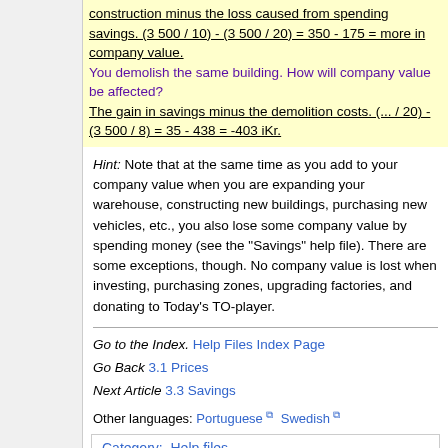construction minus the loss caused from spending savings. (3 500 / 10) - (3 500 / 20) = 350 - 175 = more in company value.
You demolish the same building. How will company value be affected?
The gain in savings minus the demolition costs. (... / 20) - (3 500 / 8) = 35 - 438 = -403 iKr.
Hint: Note that at the same time as you add to your company value when you are expanding your warehouse, constructing new buildings, purchasing new vehicles, etc., you also lose some company value by spending money (see the "Savings" help file). There are some exceptions, though. No company value is lost when investing, purchasing zones, upgrading factories, and donating to Today's TO-player.
Go to the Index. Help Files Index Page
Go Back 3.1 Prices
Next Article 3.3 Savings
Other languages: Portuguese Swedish
Category: Help files